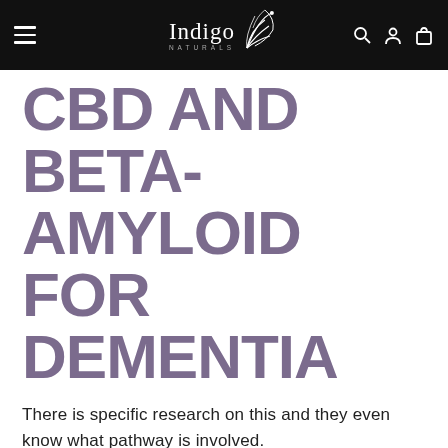Indigo Naturals
CBD AND BETA-AMYLOID FOR DEMENTIA
There is specific research on this and they even know what pathway is involved.
Here's the summary: